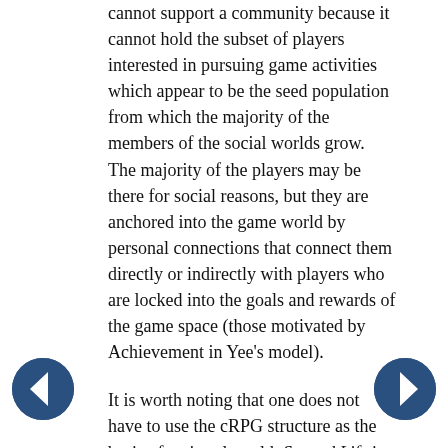cannot support a community because it cannot hold the subset of players interested in pursuing game activities which appear to be the seed population from which the majority of the members of the social worlds grow. The majority of the players may be there for social reasons, but they are anchored into the game world by personal connections that connect them directly or indirectly with players who are locked into the goals and rewards of the game space (those motivated by Achievement in Yee's model).
It is worth noting that one does not have to use the cRPG structure as the basis of a virtual world. Second Life is a notable exception, and seems to have survived simply by virtue of the persistence of its operators, but there are other examples such as the noted niche MMOG A Tale in the Desert, which is structured in a manner which includes no combat. But this game attracts only a few thousand players, not the millions of players drawn to World or Warcraft. There is, therefore, a great opportunity for small independent companies to run their own niche market games (provided they correctly anticipate the